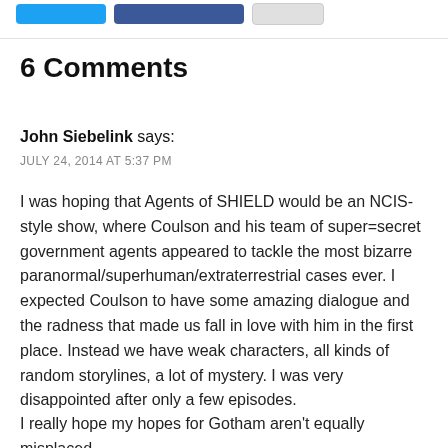[Figure (other): Social share buttons: Twitter, Facebook, and a gray button]
6 Comments
John Siebelink says:
JULY 24, 2014 AT 5:37 PM
I was hoping that Agents of SHIELD would be an NCIS-style show, where Coulson and his team of super=secret government agents appeared to tackle the most bizarre paranormal/superhuman/extraterrestrial cases ever. I expected Coulson to have some amazing dialogue and the radness that made us fall in love with him in the first place. Instead we have weak characters, all kinds of random storylines, a lot of mystery. I was very disappointed after only a few episodes.
I really hope my hopes for Gotham aren't equally misplaced